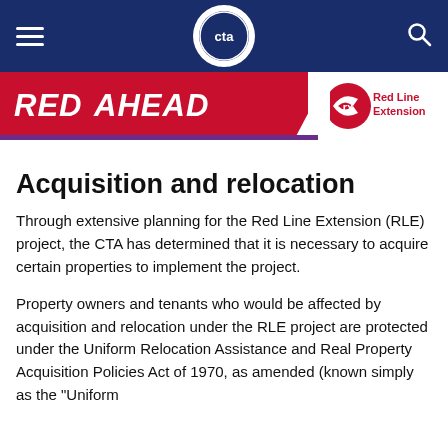[Figure (logo): CTA website header navigation bar with dark blue background, hamburger menu icon on left, CTA circular logo in center, and search icon on right]
[Figure (logo): Red Ahead banner in red with italic bold white text 'RED AHEAD', and Red Line Extension (RX) logo on the right side]
Acquisition and relocation
Through extensive planning for the Red Line Extension (RLE) project, the CTA has determined that it is necessary to acquire certain properties to implement the project.
Property owners and tenants who would be affected by acquisition and relocation under the RLE project are protected under the Uniform Relocation Assistance and Real Property Acquisition Policies Act of 1970, as amended (known simply as the "Uniform